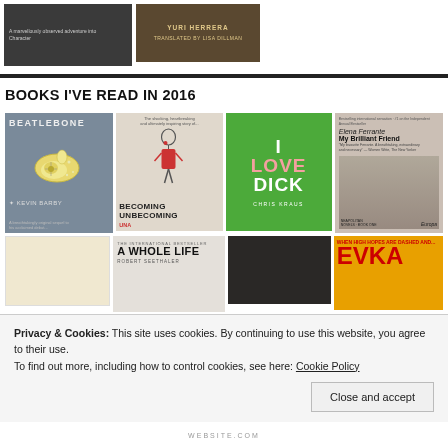[Figure (photo): Two book covers partially visible at top: dark cover on left with text, brown/gold cover on right with 'YURI HERRERA TRANSLATED BY LISA DILLMAN']
BOOKS I'VE READ IN 2016
[Figure (photo): Grid of book covers: Beatlebone by Kevin Barry (grey), Becoming Unbecoming (beige with figure), I Love Dick by Chris Kraus (green), My Brilliant Friend by Elena Ferrante (sepia photo)]
[Figure (photo): Second row of book covers partially visible: pale cover, A Whole Life by Robert Seethaler, dark coal/rocks cover, yellow cover with red text]
Privacy & Cookies: This site uses cookies. By continuing to use this website, you agree to their use.
To find out more, including how to control cookies, see here: Cookie Policy
Close and accept
WEBSITE.COM